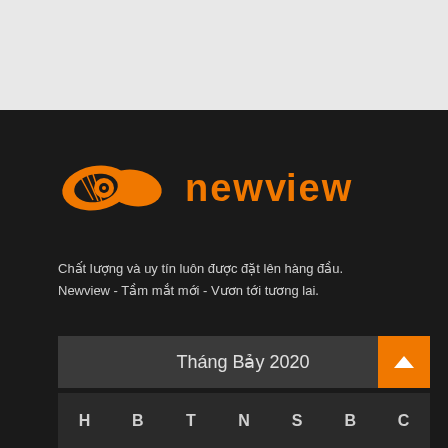[Figure (logo): NewView logo with orange eye/lens icon and orange text 'newview' on dark background]
Chất lượng và uy tín luôn được đặt lên hàng đầu.
Newview - Tầm mắt mới - Vươn tới tương lai.
Tháng Bảy 2020
| H | B | T | N | S | B | C |
| --- | --- | --- | --- | --- | --- | --- |